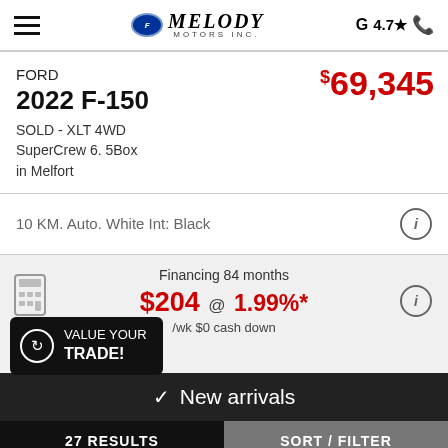Melody Motors Inc. — G 4.7★
FORD
2022 F-150
SOLD - XLT 4WD SuperCrew 6. 5Box in Melfort
$69,345
10 KM. Auto. White Int: Black
Financing 84 months $204 @ 1.99%* /wk $0 cash down
VALUE YOUR TRADE!
✓ New arrivals
27 RESULTS   SORT / FILTER